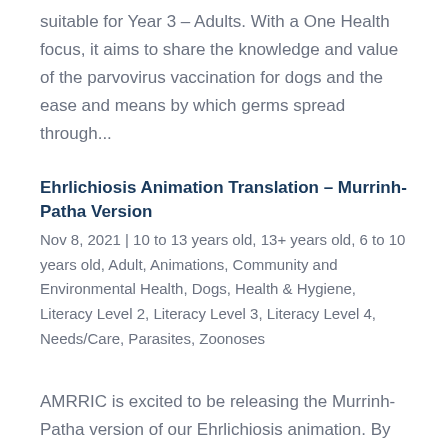suitable for Year 3 – Adults. With a One Health focus, it aims to share the knowledge and value of the parvovirus vaccination for dogs and the ease and means by which germs spread through...
Ehrlichiosis Animation Translation – Murrinh-Patha Version
Nov 8, 2021 | 10 to 13 years old, 13+ years old, 6 to 10 years old, Adult, Animations, Community and Environmental Health, Dogs, Health & Hygiene, Literacy Level 2, Literacy Level 3, Literacy Level 4, Needs/Care, Parasites, Zoonoses
AMRRIC is excited to be releasing the Murrinh-Patha version of our Ehrlichiosis animation. By